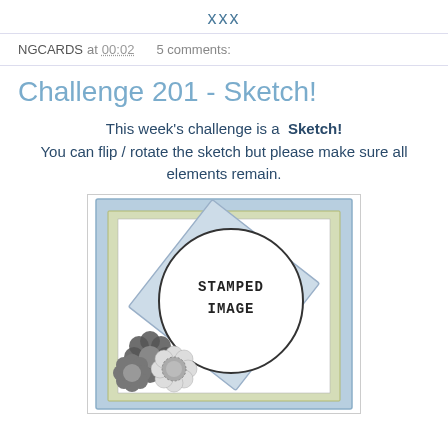xxx
NGCARDS at 00:02   5 comments:
Challenge 201 - Sketch!
This week's challenge is a Sketch! You can flip / rotate the sketch but please make sure all elements remain.
[Figure (illustration): Card-making sketch diagram showing a card layout with a blue border frame, green background panel, a diagonal rotated square element, a large circle labeled STAMPED IMAGE, and decorative flower elements in the lower left corner.]